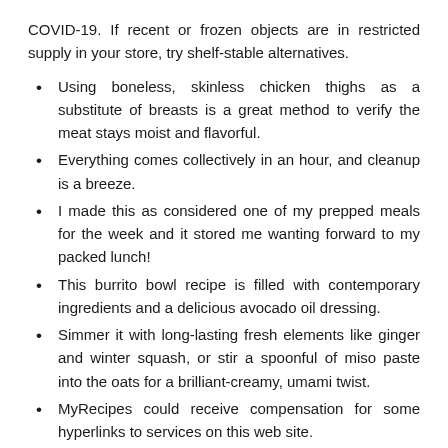COVID-19. If recent or frozen objects are in restricted supply in your store, try shelf-stable alternatives.
Using boneless, skinless chicken thighs as a substitute of breasts is a great method to verify the meat stays moist and flavorful.
Everything comes collectively in an hour, and cleanup is a breeze.
I made this as considered one of my prepped meals for the week and it stored me wanting forward to my packed lunch!
This burrito bowl recipe is filled with contemporary ingredients and a delicious avocado oil dressing.
Simmer it with long-lasting fresh elements like ginger and winter squash, or stir a spoonful of miso paste into the oats for a brilliant-creamy, umami twist.
MyRecipes could receive compensation for some hyperlinks to services on this web site.
The first 350 meals are coming from Salem Gnu Kitchen, which has a industrial kitchen to assist entrepreneurs, small